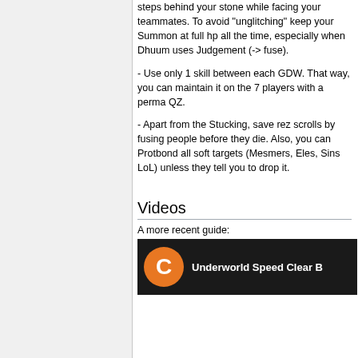steps behind your stone while facing your teammates. To avoid "unglitching" keep your Summon at full hp all the time, especially when Dhuum uses Judgement (-> fuse).
- Use only 1 skill between each GDW. That way, you can maintain it on the 7 players with a perma QZ.
- Apart from the Stucking, save rez scrolls by fusing people before they die. Also, you can Protbond all soft targets (Mesmers, Eles, Sins LoL) unless they tell you to drop it.
Videos
A more recent guide:
[Figure (screenshot): Video thumbnail showing 'Underworld Speed Clear' with orange circle avatar with letter C on dark background]